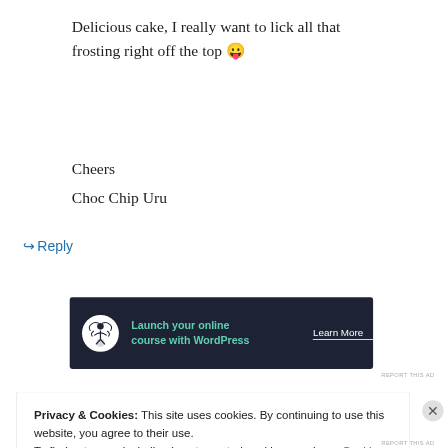Delicious cake, I really want to lick all that frosting right off the top 😛
Cheers
Choc Chip Uru
↪ Reply
[Figure (infographic): Dark navy advertisement banner: icon of a person meditating under a tree in a white circle, green text 'Launch your online course with WordPress', white underlined text 'Learn More']
REPORT THIS AD
Privacy & Cookies: This site uses cookies. By continuing to use this website, you agree to their use.
To find out more, including how to control cookies, see here: Cookie Policy
Close and accept
REPORT THIS AD